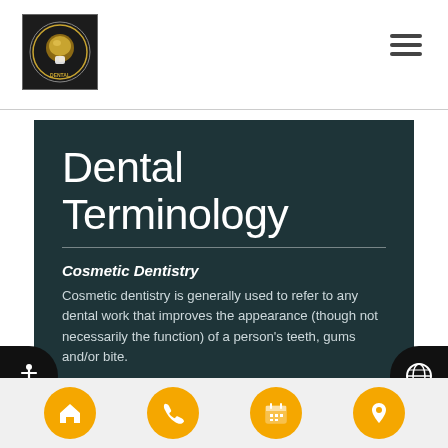[Figure (logo): Circular dental practice logo on dark square background]
[Figure (other): Hamburger menu icon (three horizontal lines)]
Dental Terminology
Cosmetic Dentistry
Cosmetic dentistry is generally used to refer to any dental work that improves the appearance (though not necessarily the function) of a person's teeth, gums and/or bite.
[Figure (other): Accessibility wheelchair icon button on left side]
[Figure (other): Globe/language icon button on right side]
[Figure (other): Bottom navigation bar with four orange circle buttons: home, phone, calendar, location]